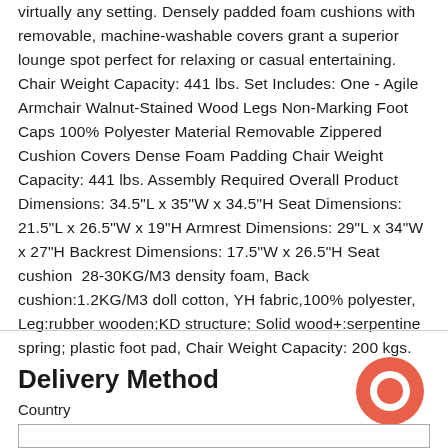virtually any setting. Densely padded foam cushions with removable, machine-washable covers grant a superior lounge spot perfect for relaxing or casual entertaining. Chair Weight Capacity: 441 lbs. Set Includes: One - Agile Armchair Walnut-Stained Wood Legs Non-Marking Foot Caps 100% Polyester Material Removable Zippered Cushion Covers Dense Foam Padding Chair Weight Capacity: 441 lbs. Assembly Required Overall Product Dimensions: 34.5"L x 35"W x 34.5"H Seat Dimensions: 21.5"L x 26.5"W x 19"H Armrest Dimensions: 29"L x 34"W x 27"H Backrest Dimensions: 17.5"W x 26.5"H Seat cushion 28-30KG/M3 density foam, Back cushion:1.2KG/M3 doll cotton, YH fabric,100% polyester, Leg:rubber wooden;KD structure; Solid wood+:serpentine spring; plastic foot pad, Chair Weight Capacity: 200 kgs.
Delivery Method
Country